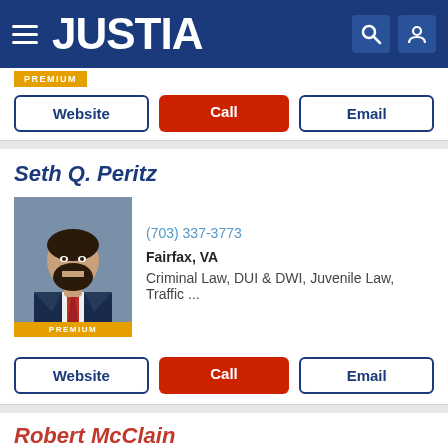JUSTIA
PREMIUM
Website | Call | Email
Seth Q. Peritz
[Figure (photo): Professional headshot of attorney Seth Q. Peritz, male, dark beard, wearing suit and tie]
(703) 337-3773
Fairfax, VA
Criminal Law, DUI & DWI, Juvenile Law, Traffic ...
PREMIUM
Website | Call | Email
Robert McClain
[Figure (photo): Professional headshot of attorney Robert McClain, male, wearing suit]
(703) 934-0101
Fairfax, VA
Personal Injury, Criminal Law, DUI & DWI, Dom...